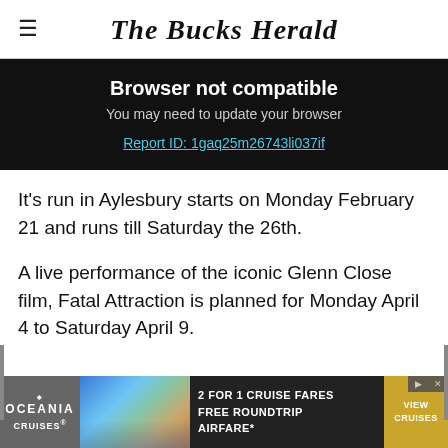The Bucks Herald
Browser not compatible
You may need to update your browser
Report ID: 1gaq25m26743li037if
It's run in Aylesbury starts on Monday February 21 and runs till Saturday the 26th.
A live performance of the iconic Glenn Close film, Fatal Attraction is planned for Monday April 4 to Saturday April 9.
[Figure (infographic): Oceania Cruises advertisement banner: 2 for 1 cruise fares, free roundtrip airfare, with view cruises button]